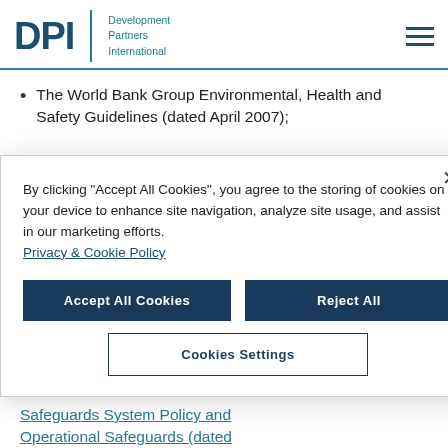DPI Development Partners International
The World Bank Group Environmental, Health and Safety Guidelines (dated April 2007);
By clicking “Accept All Cookies”, you agree to the storing of cookies on your device to enhance site navigation, analyze site usage, and assist in our marketing efforts. Privacy & Cookie Policy
Accept All Cookies | Reject All | Cookies Settings
Safeguards System Policy and Operational Safeguards (dated...